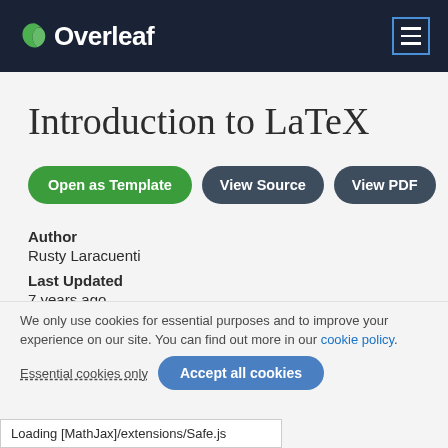Overleaf
Introduction to LaTeX
Open as Template  View Source  View PDF
Author
Rusty Laracuenti
Last Updated
7 years ago
We only use cookies for essential purposes and to improve your experience on our site. You can find out more in our cookie policy.
Essential cookies only   Accept all cookies
Loading [MathJax]/extensions/Safe.js